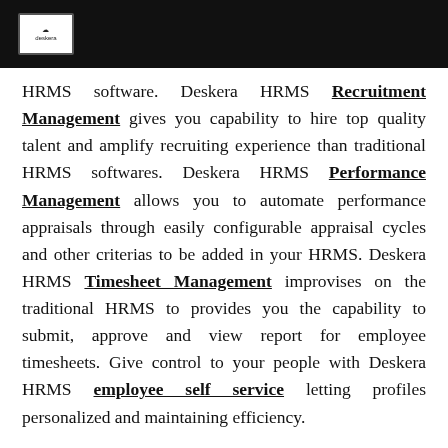Deskera logo
HRMS software. Deskera HRMS Recruitment Management gives you capability to hire top quality talent and amplify recruiting experience than traditional HRMS softwares. Deskera HRMS Performance Management allows you to automate performance appraisals through easily configurable appraisal cycles and other criterias to be added in your HRMS. Deskera HRMS Timesheet Management improvises on the traditional HRMS to provides you the capability to submit, approve and view report for employee timesheets. Give control to your people with Deskera HRMS employee self service letting profiles personalized and maintaining efficiency.